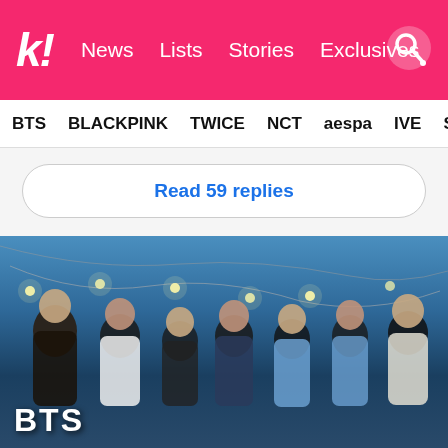k! News  Lists  Stories  Exclusives
BTS  BLACKPINK  TWICE  NCT  aespa  IVE  SEVE
Read 59 replies
[Figure (photo): Group photo of BTS (7 members) posing outdoors at dusk with string lights in the background, blue sky. Text overlay reads BTS in bottom left.]
The BTS Reading List : 10 Books BTS Recommends To